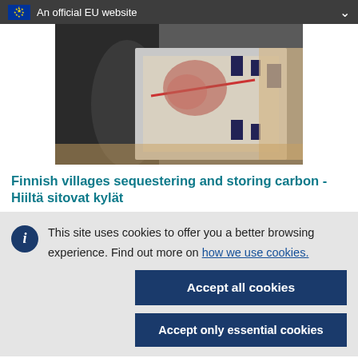An official EU website
[Figure (photo): A person handling printed materials or artwork on a table, showing colorful prints or textile patterns]
Finnish villages sequestering and storing carbon - Hiiltä sitovat kylät
This site uses cookies to offer you a better browsing experience. Find out more on how we use cookies.
Accept all cookies
Accept only essential cookies